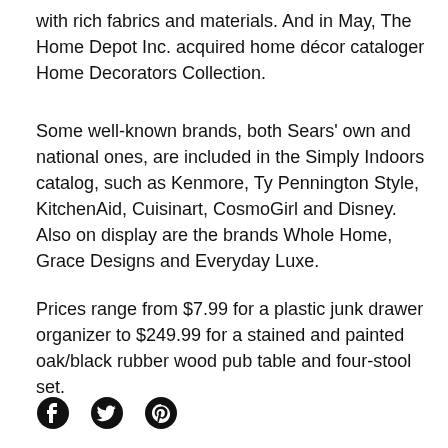with rich fabrics and materials. And in May, The Home Depot Inc. acquired home décor cataloger Home Decorators Collection.
Some well-known brands, both Sears' own and national ones, are included in the Simply Indoors catalog, such as Kenmore, Ty Pennington Style, KitchenAid, Cuisinart, CosmoGirl and Disney. Also on display are the brands Whole Home, Grace Designs and Everyday Luxe.
Prices range from $7.99 for a plastic junk drawer organizer to $249.99 for a stained and painted oak/black rubber wood pub table and four-stool set.
[Figure (other): Social media icons: Facebook, Twitter, Pinterest]